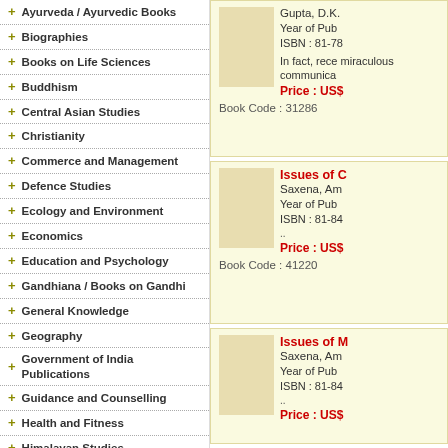+ Ayurveda / Ayurvedic Books
+ Biographies
+ Books on Life Sciences
+ Buddhism
+ Central Asian Studies
+ Christianity
+ Commerce and Management
+ Defence Studies
+ Ecology and Environment
+ Economics
+ Education and Psychology
+ Gandhiana / Books on Gandhi
+ General Knowledge
+ Geography
+ Government of India Publications
+ Guidance and Counselling
+ Health and Fitness
+ Himalayan Studies
+ Hinduism
+ History
+ Human Rights
+ Information Technology
Gupta, D.K.
Year of Pub
ISBN : 81-78
In fact, rece miraculous communica
Price : US$
Book Code : 31286
Issues of C
Saxena, Am
Year of Pub
ISBN : 81-84
..
Price : US$
Book Code : 41220
Issues of M
Saxena, Am
Year of Pub
ISBN : 81-84
..
Price : US$